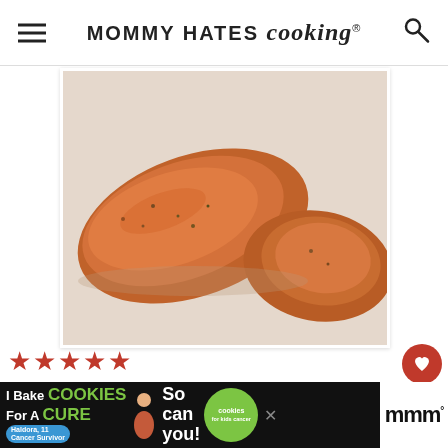MOMMY HATES cooking
[Figure (photo): Close-up photo of grilled buffalo chicken wings coated in orange-red sauce on white parchment paper]
★★★★★
Created by: Kristy Still
Grilled Buffalo Wings
COURSE GRILLING
CUISINE AMERICAN
WHAT'S NEXT → Air Fryer Ham and Cheese....
[Figure (photo): Small thumbnail of Air Fryer Ham and Cheese recipe]
[Figure (screenshot): Advertisement banner: I Bake COOKIES For A CURE - Haldora, 11 Cancer Survivor - So can you! - cookies for kids cancer]